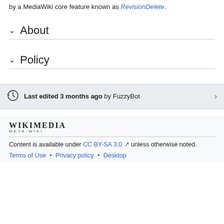MediaWiki extension Oversight, which has been replaced by a MediaWiki core feature known as RevisionDelete.
About
Policy
Last edited 3 months ago by FuzzyBot
[Figure (logo): Wikimedia Meta-Wiki logo — bold uppercase WIKIMEDIA with META-WIKI below in small caps]
Content is available under CC BY-SA 3.0 unless otherwise noted.
Terms of Use • Privacy policy • Desktop